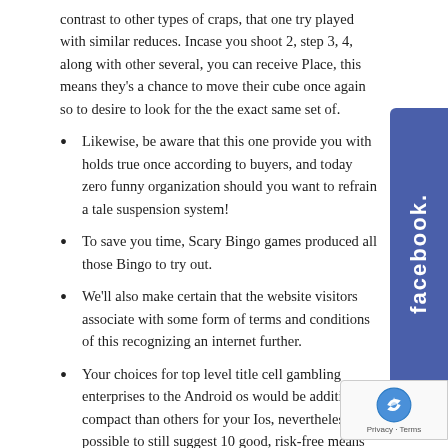contrast to other types of craps, that one try played with similar reduces. Incase you shoot 2, step 3, 4, along with other several, you can receive Place, this means they's a chance to move their cube once again so to desire to look for the the exact same set of.
Likewise, be aware that this one provide you with holds true once according to buyers, and today zero funny organization should you want to refrain a tale suspension system!
To save you time, Scary Bingo games produced all those Bingo to try out.
We'll also make certain that the website visitors associate with some form of terms and conditions of this recognizing an internet further.
Your choices for top level title cell gambling enterprises to the Android os would be additional a compact than others for your Ios, nevertheless it is possible to still suggest 10 good, risk-free means of your mobile recreations.
Downloading an app do indeed absorb extra memories